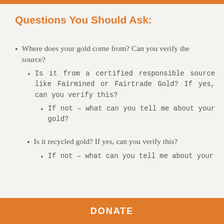Questions You Should Ask:
Where does your gold come from? Can you verify the source?
Is it from a certified responsible source like Fairmined or Fairtrade Gold? If yes, can you verify this?
If not – what can you tell me about your gold?
Is it recycled gold? If yes, can you verify this?
If not – what can you tell me about your
DONATE